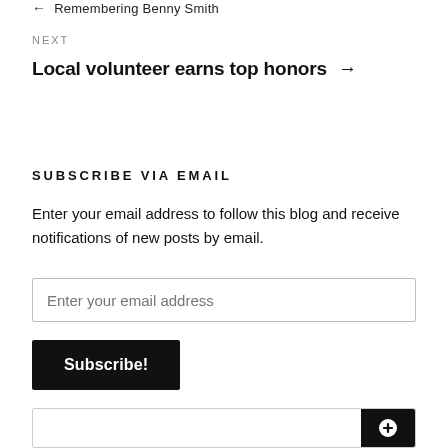← Remembering Benny Smith
NEXT
Local volunteer earns top honors →
SUBSCRIBE VIA EMAIL
Enter your email address to follow this blog and receive notifications of new posts by email.
Enter your email address
Subscribe!